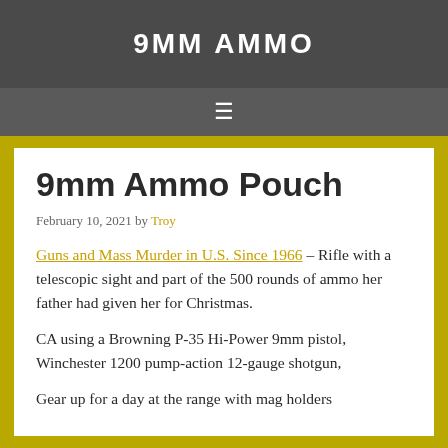9MM AMMO
9mm Ammo Pouch
February 10, 2021 by Troy
Guns and Mass Murder in U.S. Since 1966 – Rifle with a telescopic sight and part of the 500 rounds of ammo her father had given her for Christmas.
CA using a Browning P-35 Hi-Power 9mm pistol, Winchester 1200 pump-action 12-gauge shotgun,
Gear up for a day at the range with mag holders